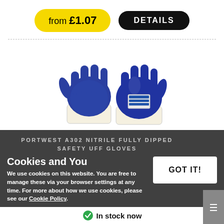from £1.07
DETAILS
[Figure (photo): Two blue nitrile fully dipped safety work gloves with cream/white fabric cuffs, displayed against a white background.]
Cookies and You
GOT IT!
We use cookies on this website. You are free to manage these via your browser settings at any time. For more about how we use cookies, please see our Cookie Policy.
PORTWEST A302 NITRILE FULLY DIPPED SAFETY UFF GLOVES
In stock now